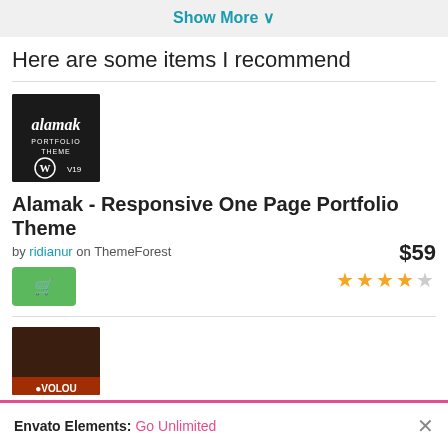Show More ▾
Here are some items I recommend
[Figure (screenshot): Alamak Portfolio Theme thumbnail: dark background with 'alamak PORTFOLIO THEME' text, WordPress logo, and V19 label]
Alamak - Responsive One Page Portfolio Theme
by ridianur on ThemeForest
[Figure (other): Green shopping cart button]
$59
★★★★☆
[Figure (screenshot): Second item thumbnail - dark brownish image partially visible]
Envato Elements: Go Unlimited ×